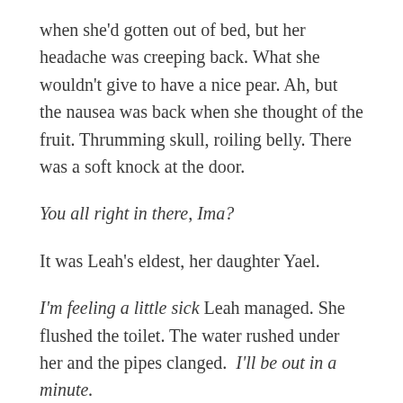when she'd gotten out of bed, but her headache was creeping back. What she wouldn't give to have a nice pear. Ah, but the nausea was back when she thought of the fruit. Thrumming skull, roiling belly. There was a soft knock at the door.
You all right in there, Ima?
It was Leah's eldest, her daughter Yael.
I'm feeling a little sick Leah managed. She flushed the toilet. The water rushed under her and the pipes clanged.  I'll be out in a minute.
Leah remembered when she first laid eyes on